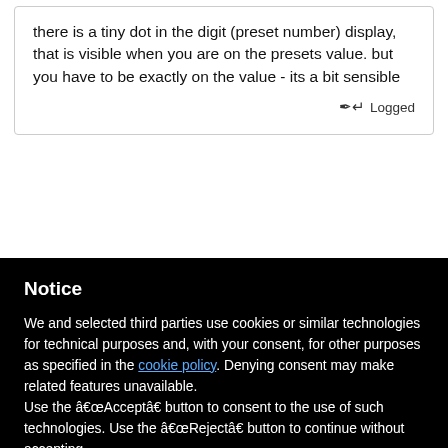there is a tiny dot in the digit (preset number) display, that is visible when you are on the presets value. but you have to be exactly on the value - its a bit sensible
Logged
Notice
We and selected third parties use cookies or similar technologies for technical purposes and, with your consent, for other purposes as specified in the cookie policy. Denying consent may make related features unavailable.
Use the “Accept” button to consent to the use of such technologies. Use the “Reject” button to continue without accepting.
Reject
Accept
Learn more and customize